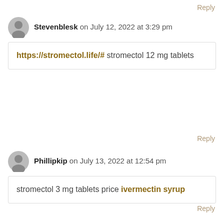Reply
Stevenblesk on July 12, 2022 at 3:29 pm
https://stromectol.life/# stromectol 12 mg tablets
Reply
Phillipkip on July 13, 2022 at 12:54 pm
stromectol 3 mg tablets price ivermectin syrup
Reply